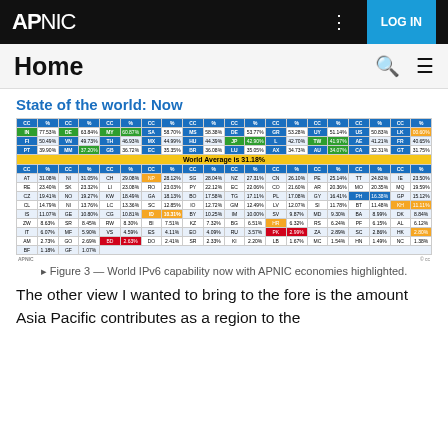APNIC | LOG IN
Home
State of the world: Now
[Figure (table-as-image): World IPv6 capability table showing country codes and percentages, with World Average is 31.18% highlighted in yellow]
Figure 3 — World IPv6 capability now with APNIC economies highlighted.
The other view I wanted to bring to the fore is the amount Asia Pacific contributes as a region to the